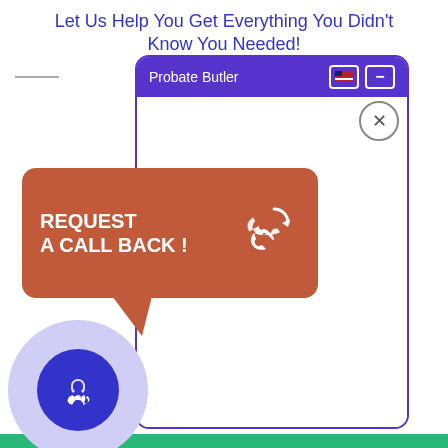Let Us Help You Get Everything You Didn't Know You Needed!
[Figure (screenshot): Screenshot of a chat widget called 'Probate Butler' with a purple header bar, close button, and an empty white chat body area.]
[Figure (infographic): Orange/terracotta speech bubble with white bold text 'REQUEST A CALL BACK!' and a phone callback icon, with a speech bubble tail pointing down to a light purple circle containing a dark blue circle with a white phone icon.]